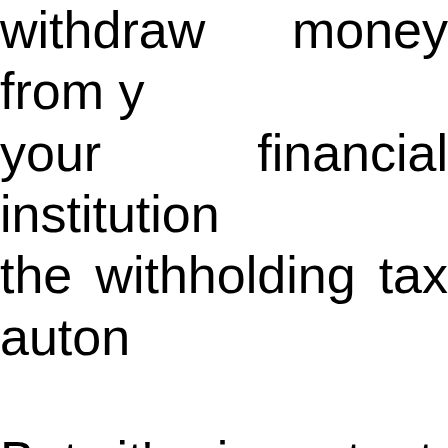withdraw money from your financial institution the withholding tax autom But it's important to that the amount withheld estimate. The gross am you withdraw from you included in your incom